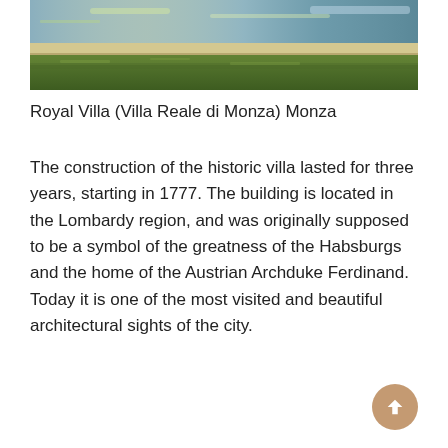[Figure (photo): Outdoor photograph showing green grass in the foreground and a reflective water surface (possibly a pool or river) in the background, with a yellowish-white curbed edge between them. Taken at the Royal Villa grounds in Monza.]
Royal Villa (Villa Reale di Monza) Monza
The construction of the historic villa lasted for three years, starting in 1777. The building is located in the Lombardy region, and was originally supposed to be a symbol of the greatness of the Habsburgs and the home of the Austrian Archduke Ferdinand. Today it is one of the most visited and beautiful architectural sights of the city.